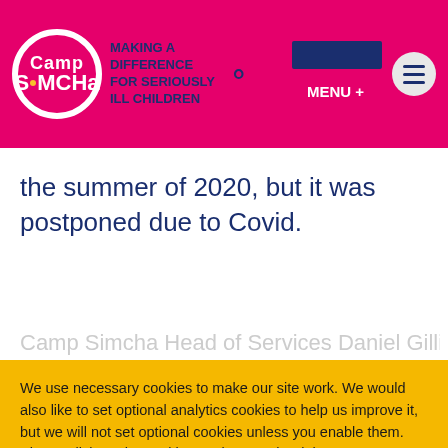Camp Simcha – Making a Difference for Seriously Ill Children – MENU +
the summer of 2020, but it was postponed due to Covid.
Camp Simcha Head of Services Daniel Gillis
We use necessary cookies to make our site work. We would also like to set optional analytics cookies to help us improve it, but we will not set optional cookies unless you enable them. Please click on the cookies settings on the right to manage your preferences.
For more detailed information about the cookies we use, please see our Cookie Policy
COOKIE SETTINGS
ACCEPT